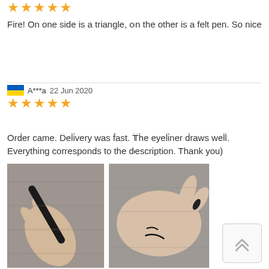[Figure (other): 5 gold stars rating for first (partial) review]
Fire! On one side is a triangle, on the other is a felt pen. So nice
[Figure (other): Ukraine flag icon followed by reviewer name A***a, date 22 Jun 2020, and 5 gold stars rating]
Order came. Delivery was fast. The eyeliner draws well. Everything corresponds to the description. Thank you)
[Figure (photo): Photo of a hand holding a black eyeliner pencil]
[Figure (photo): Photo of a hand with eyeliner marks drawn on the back of the hand]